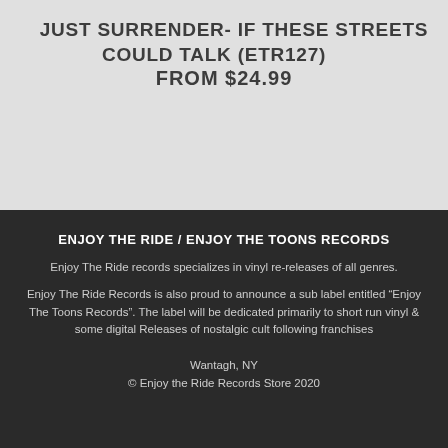JUST SURRENDER- IF THESE STREETS COULD TALK (ETR127)
FROM $24.99
ENJOY THE RIDE / ENJOY THE TOONS RECORDS
Enjoy The Ride records specializes in vinyl re-releases of all genres.
Enjoy The Ride Records is also proud to announce a sub label entitled “Enjoy The Toons Records”. The label will be dedicated primarily to short run vinyl & some digital Releases of nostalgic cult following franchises
Wantagh, NY
© Enjoy the Ride Records Store 2020